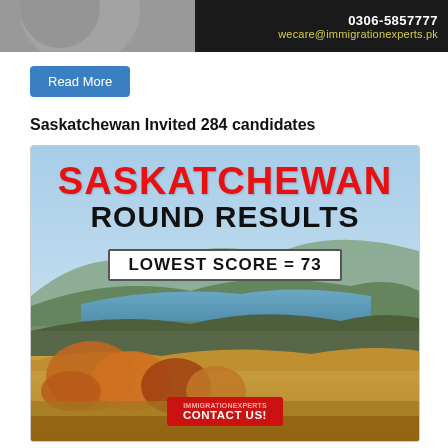[Figure (screenshot): Top banner with phone number 0306-5857777 and email wecare@immigrationexperts.pk on dark background]
Read More
Saskatchewan Invited 284 candidates
[Figure (infographic): Saskatchewan Round Results infographic. Red bold text: SASKATCHEWAN. Black bold text: ROUND RESULTS. White box with border: LOWEST SCORE = 73. Landscape photo background showing rolling hills, golden grasslands, lake, and autumn foliage. Red CONTACT US! button at bottom.]